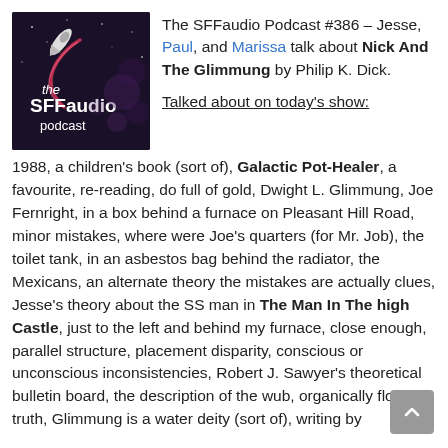[Figure (logo): The SFFaudio Podcast logo — dark purple/black background with a rocket and stylized text 'the SFFaudio podcast']
The SFFaudio Podcast #386 – Jesse, Paul, and Marissa talk about Nick And The Glimmung by Philip K. Dick.
Talked about on today's show:
1988, a children's book (sort of), Galactic Pot-Healer, a favourite, re-reading, do full of gold, Dwight L. Glimmung, Joe Fernright, in a box behind a furnace on Pleasant Hill Road, minor mistakes, where were Joe's quarters (for Mr. Job), the toilet tank, in an asbestos bag behind the radiator, the Mexicans, an alternate theory the mistakes are actually clues, Jesse's theory about the SS man in The Man In The high Castle, just to the left and behind my furnace, close enough, parallel structure, placement disparity, conscious or unconscious inconsistencies, Robert J. Sawyer's theoretical bulletin board, the description of the wub, organically flowing truth, Glimmung is a water deity (sort of), writing by